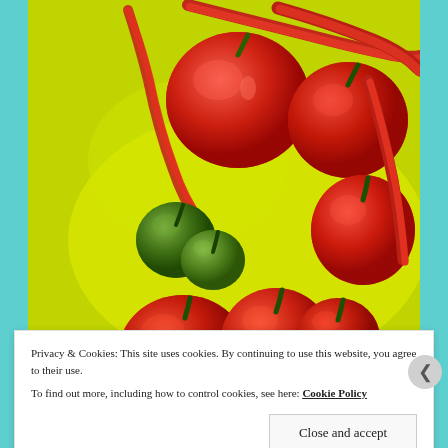[Figure (photo): A photograph of various red and green chili peppers and habanero/bell peppers arranged on a bright yellow-green background. Red long chili peppers, round red habanero-style peppers, and small green peppers are visible in a pile.]
Privacy & Cookies: This site uses cookies. By continuing to use this website, you agree to their use. To find out more, including how to control cookies, see here: Cookie Policy
Close and accept